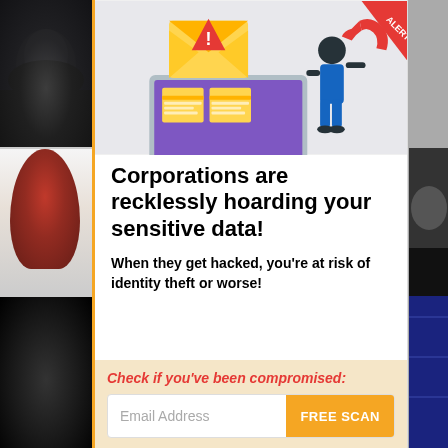[Figure (illustration): Left strip of three photos: top - dark moody grayscale portrait, middle - woman with red hair, bottom - dark animal face (bear/wolf)]
[Figure (infographic): Illustration showing a laptop with warning envelope, data files, and a hacker figure with a magnet stealing data. Red corner banner in top right.]
Corporations are recklessly hoarding your sensitive data!
When they get hacked, you're at risk of identity theft or worse!
Check if you've been compromised:
Email Address
FREE SCAN